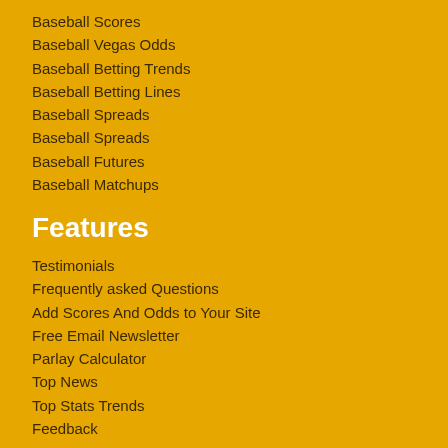Baseball Scores
Baseball Vegas Odds
Baseball Betting Trends
Baseball Betting Lines
Baseball Spreads
Baseball Spreads
Baseball Futures
Baseball Matchups
Features
Testimonials
Frequently asked Questions
Add Scores And Odds to Your Site
Free Email Newsletter
Parlay Calculator
Top News
Top Stats Trends
Feedback